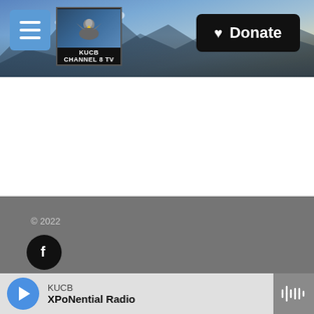[Figure (screenshot): KUCB website header with mountain/snowy landscape banner, hamburger menu button, KUCB Channel 8 TV logo, and Donate button]
© 2022
[Figure (infographic): Social media icons: Facebook, Twitter, YouTube, Instagram — black circles on gray background]
KUCB
XPoNential Radio